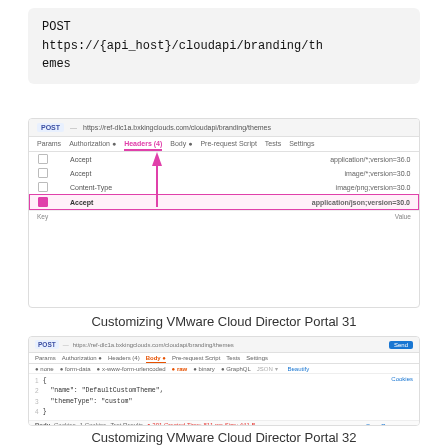[Figure (screenshot): Code block showing POST https://{api_host}/cloudapi/branding/themes]
[Figure (screenshot): Postman-like API client screenshot showing POST request to https://ref-dlc1a.bxkingclouds.com/cloudapi/branding/themes with Headers tab selected and Accept header highlighted in pink/magenta with value application/json;version=30.0. An upward arrow annotation points to the Headers tab.]
Customizing VMware Cloud Director Portal 31
[Figure (screenshot): Postman-like API client screenshot showing POST request with Body tab selected, containing JSON body with name and themeType fields. Response section shows status and response body with themeType: CUSTOM and name: DefaultCustomTheme. A dark overlay with upload arrow is visible in the bottom-right corner.]
Customizing VMware Cloud Director Portal 32